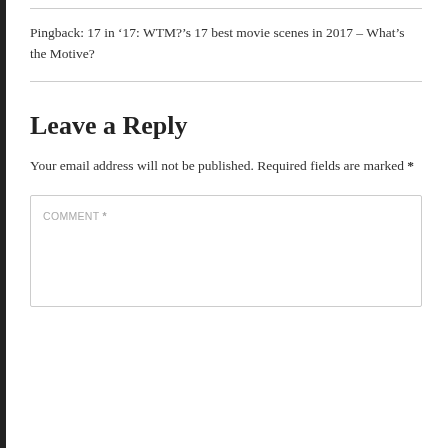Pingback: 17 in ‘17: WTM?’s 17 best movie scenes in 2017 – What’s the Motive?
Leave a Reply
Your email address will not be published. Required fields are marked *
COMMENT *